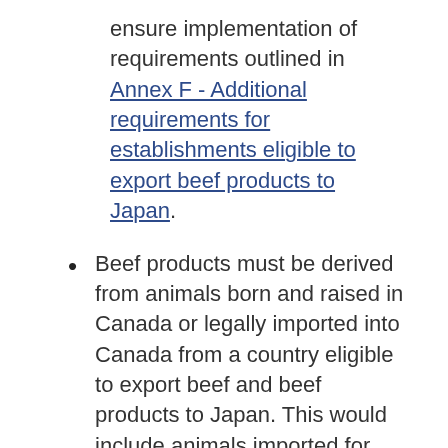ensure implementation of requirements outlined in Annex F - Additional requirements for establishments eligible to export beef products to Japan.
Beef products must be derived from animals born and raised in Canada or legally imported into Canada from a country eligible to export beef and beef products to Japan. This would include animals imported for immediate slaughter as well as those born in a country eligible to export to